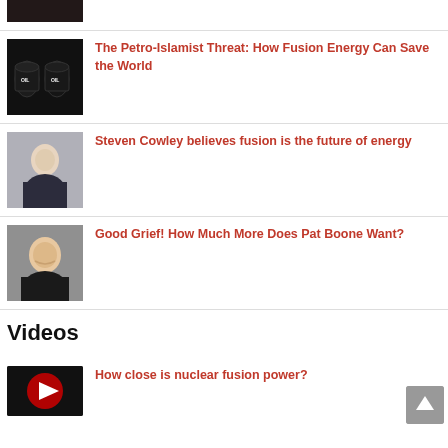[Figure (photo): Dark image partially visible at top]
[Figure (photo): Oil barrels with ISIS/OIL label on dark background]
The Petro-Islamist Threat: How Fusion Energy Can Save the World
[Figure (photo): Portrait of Steven Cowley in suit]
Steven Cowley believes fusion is the future of energy
[Figure (photo): Portrait of Pat Boone smiling]
Good Grief! How Much More Does Pat Boone Want?
Videos
[Figure (photo): Video thumbnail for nuclear fusion power video]
How close is nuclear fusion power?